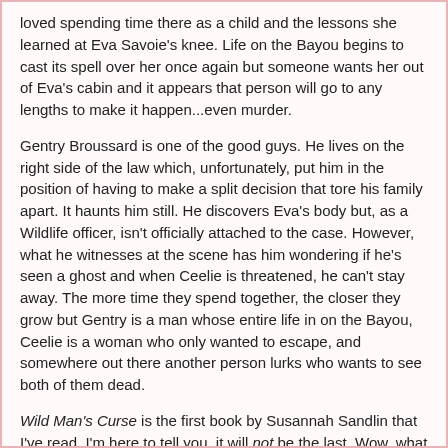loved spending time there as a child and the lessons she learned at Eva Savoie's knee. Life on the Bayou begins to cast its spell over her once again but someone wants her out of Eva's cabin and it appears that person will go to any lengths to make it happen...even murder.
Gentry Broussard is one of the good guys. He lives on the right side of the law which, unfortunately, put him in the position of having to make a split decision that tore his family apart. It haunts him still. He discovers Eva's body but, as a Wildlife officer, isn't officially attached to the case. However, what he witnesses at the scene has him wondering if he's seen a ghost and when Ceelie is threatened, he can't stay away. The more time they spend together, the closer they grow but Gentry is a man whose entire life in on the Bayou, Ceelie is a woman who only wanted to escape, and somewhere out there another person lurks who wants to see both of them dead.
Wild Man's Curse is the first book by Susannah Sandlin that I've read. I'm here to tell you, it will not be the last. Wow, what a ride! I wanted to read it slowly, savoring each word; absorbing the steamy, mystical, sometimes sensual, sometimes sinister life on the Bayou